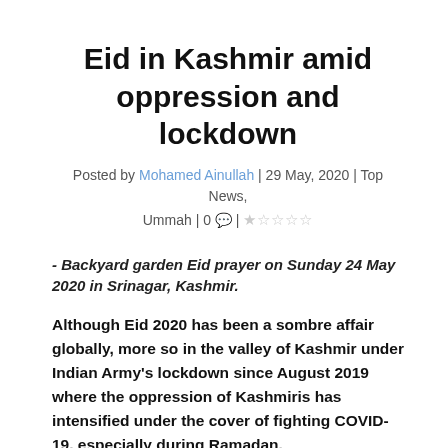Eid in Kashmir amid oppression and lockdown
Posted by Mohamed Ainullah | 29 May, 2020 | Top News, Ummah | 0 💬 | ☆☆☆☆☆
- Backyard garden Eid prayer on Sunday 24 May 2020 in Srinagar, Kashmir.
Although Eid 2020 has been a sombre affair globally, more so in the valley of Kashmir under Indian Army's lockdown since August 2019 where the oppression of Kashmiris has intensified under the cover of fighting COVID-19, especially during Ramadan.